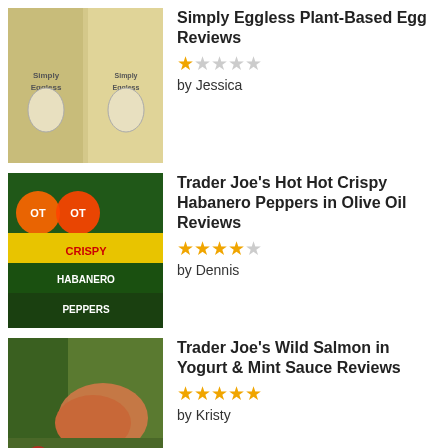Simply Eggless Plant-Based Egg Reviews, 1 star, by Jessica
Trader Joe's Hot Hot Crispy Habanero Peppers in Olive Oil Reviews, 4 stars, by Dennis
Trader Joe's Wild Salmon in Yogurt & Mint Sauce Reviews, 5 stars, by Kristy
Trader Joe's Chicken Wrap with Pesto Vinaigrette Reviews, 5 stars, by js
PRODUCT CATEGORIES